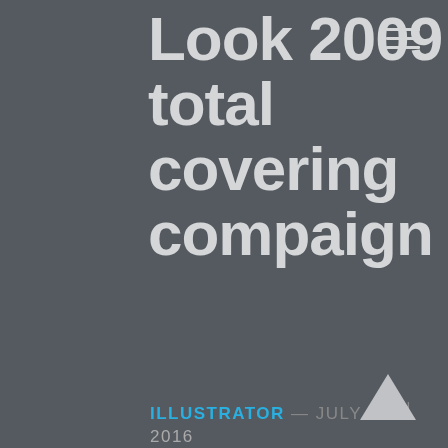Elite Model Look 2009 total covering compaign
ILLUSTRATOR — JULY 14TH 2016
The roughs, exe files and the shooting of a campaign in Paris, by Elite Model Look, for a national casting.